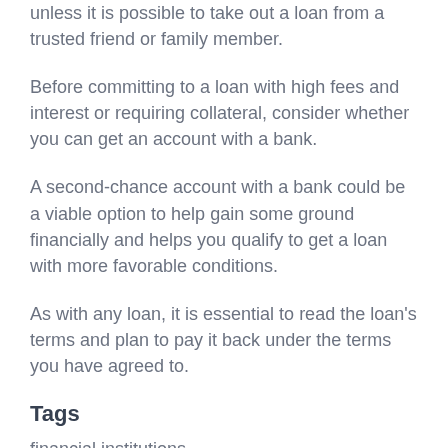unless it is possible to take out a loan from a trusted friend or family member.
Before committing to a loan with high fees and interest or requiring collateral, consider whether you can get an account with a bank.
A second-chance account with a bank could be a viable option to help gain some ground financially and helps you qualify to get a loan with more favorable conditions.
As with any loan, it is essential to read the loan's terms and plan to pay it back under the terms you have agreed to.
Tags
financial institutions